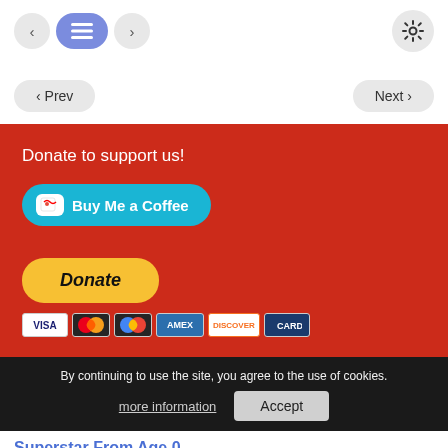[Figure (screenshot): Navigation bar with back arrow, list/menu icon (active, blue-purple), forward arrow, and gear/settings icon]
[Figure (screenshot): Prev and Next navigation buttons]
Donate to support us!
[Figure (screenshot): Buy Me a Coffee button (teal/cyan rounded button with coffee cup icon)]
[Figure (screenshot): PayPal Donate button (yellow rounded button) with payment card icons below (Visa, Mastercard, Google Pay, Amex, Discover, credit card)]
By continuing to use the site, you agree to the use of cookies.
more information
Accept
Superstar From Age 0